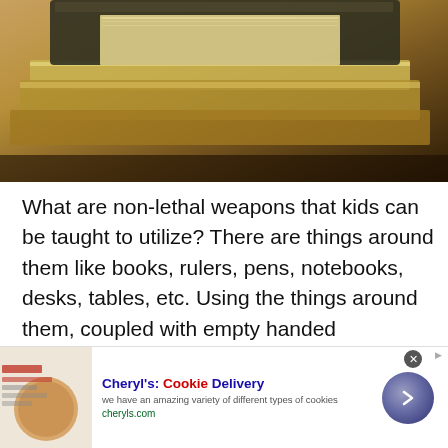[Figure (photo): Stack of books on a table, warm golden/brown tones, close-up view of book spines and pages]
What are non-lethal weapons that kids can be taught to utilize? There are things around them like books, rulers, pens, notebooks, desks, tables, etc. Using the things around them, coupled with empty handed techniques can take the air out of the bad intentions of would be bullies.
What style would teach all of these? A good Kali based kids program with elements of other styles like
[Figure (screenshot): Advertisement for Cheryl's Cookie Delivery - shows cookies image, title 'Cheryl's: Cookie Delivery', description 'we have an amazing variety of different types of cookies', URL 'cheryls.com', with a forward arrow button and close button]